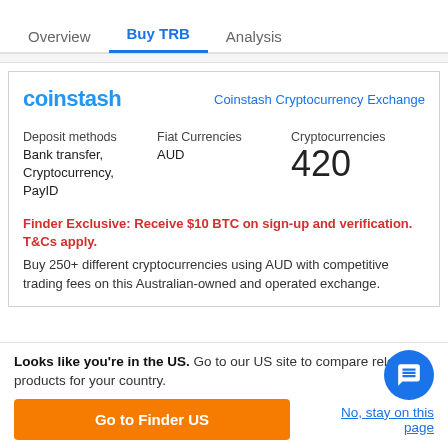Overview | Buy TRB | Analysis
coinstash | Coinstash Cryptocurrency Exchange
Deposit methods: Bank transfer, Cryptocurrency, PayID | Fiat Currencies: AUD | Cryptocurrencies: 420
Finder Exclusive: Receive $10 BTC on sign-up and verification. T&Cs apply. Buy 250+ different cryptocurrencies using AUD with competitive trading fees on this Australian-owned and operated exchange.
Looks like you're in the US. Go to our US site to compare relevant products for your country.
Go to Finder US | No, stay on this page